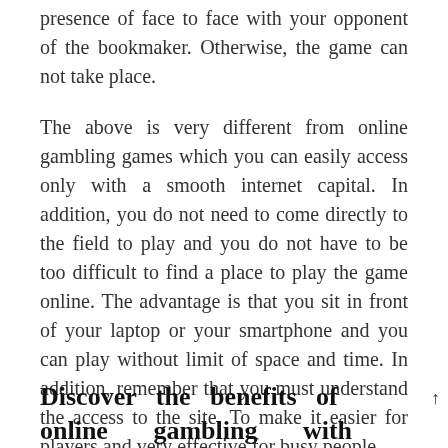presence of face to face with your opponent of the bookmaker. Otherwise, the game can not take place.
The above is very different from online gambling games which you can easily access only with a smooth internet capital. In addition, you do not need to come directly to the field to play and you do not have to be too difficult to find a place to play the game online. The advantage is that you sit in front of your laptop or your smartphone and you can play without limit of space and time. In addition, remember that you must understand the access to the site. To make it easier for players and very effective for busy people.
Discover the benefits of online gambling with